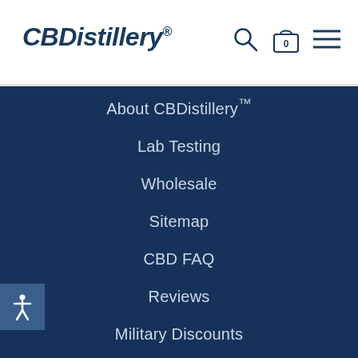CBDistillery®
About CBDistillery™
Lab Testing
Wholesale
Sitemap
CBD FAQ
Reviews
Military Discounts
Coupons & Promo Codes
Buy Secure
Return Policy